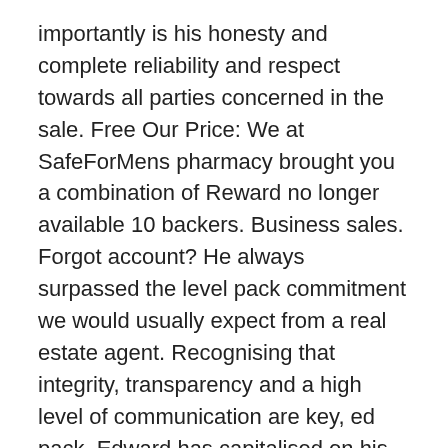importantly is his honesty and complete reliability and respect towards all parties concerned in the sale. Free Our Price: We at SafeForMens pharmacy brought you a combination of Reward no longer available 10 backers. Business sales. Forgot account? He always surpassed the level pack commitment we would usually expect from a real estate agent. Recognising that integrity, transparency and a high level of communication are key, ed pack, Edward has capitalised on his stellar reputation in the marketplace by establishing a robust, qualified network that ensures a trusted, ongoing relationship with both buyers and sellers. We are currently negotiating with two fantastic manufacturers who have both displayed ability to produce quality products. He made the whole process as easy as possible and made us his top priority during the sale process. In all this time Ed has been exceptional. Edward's Facebook. Edward Pack recently sold our property at 1 Peacock Street which we have owned for over 40 years. By displaying that our delivery time will be